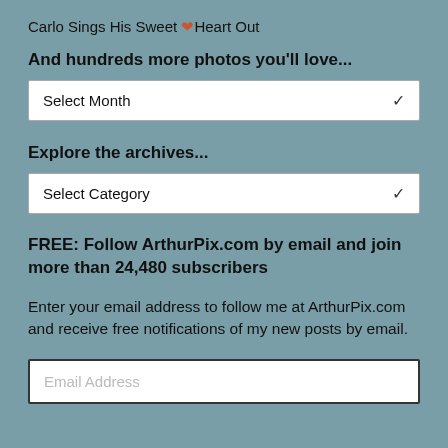Carlo Sings His Sweet ❤️ Heart Out
And hundreds more photos you'll love...
Select Month (dropdown)
Explore the archives...
Select Category (dropdown)
FREE: Follow ArthurPix.com by email and join more than 24,480 subscribers
Enter your email address to follow me at ArthurPix.com and receive free notifications of my new posts by email.
Email Address (input field)